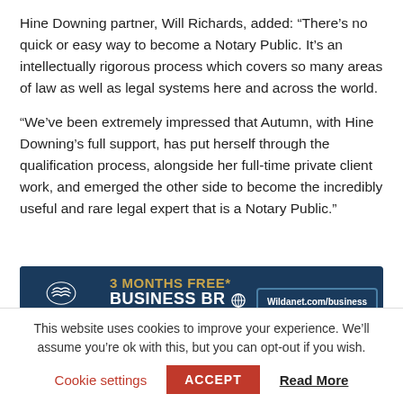Hine Downing partner, Will Richards, added: “There’s no quick or easy way to become a Notary Public. It’s an intellectually rigorous process which covers so many areas of law as well as legal systems here and across the world.
“We’ve been extremely impressed that Autumn, with Hine Downing’s full support, has put herself through the qualification process, alongside her full-time private client work, and emerged the other side to become the incredibly useful and rare legal expert that is a Notary Public.”
[Figure (infographic): Wildanet advertisement banner: dark navy background with Wildanet logo on left (bird icon and 'wildanet' text with 'Community Broadband' subtitle), center text reads '3 MONTHS FREE* BUSINESS BROADBAND' in gold and white bold text, right side has a teal rounded button reading 'Wildanet.com/business']
This website uses cookies to improve your experience. We’ll assume you’re ok with this, but you can opt-out if you wish.
Cookie settings  ACCEPT  Read More